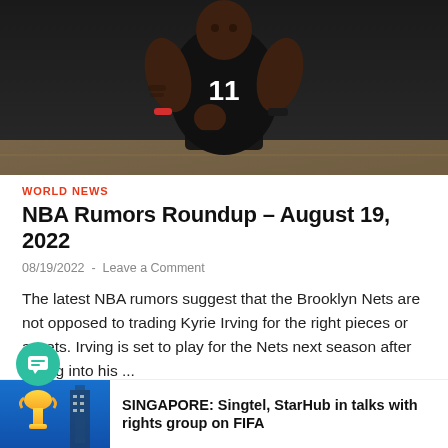[Figure (photo): Basketball player wearing Brooklyn Nets #11 jersey (Kyrie Irving) on a court, dark jersey with white number]
WORLD NEWS
NBA Rumors Roundup – August 19, 2022
08/19/2022 - Leave a Comment
The latest NBA rumors suggest that the Brooklyn Nets are not opposed to trading Kyrie Irving for the right pieces or assets. Irving is set to play for the Nets next season after opting into his ...
[Figure (photo): FIFA World Cup trophy and building in background, blue background]
SINGAPORE: Singtel, StarHub in talks with rights group on FIFA